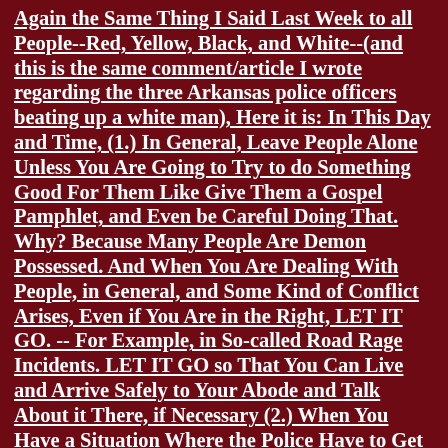Again the Same Thing I Said Last Week to all People--Red, Yellow, Black, and White--(and this is the same comment/article I wrote regarding the three Arkansas police officers beating up a white man), Here it is: In This Day and Time, (1.) In General, Leave People Alone Unless You Are Going to Try to do Something Good For Them Like Give Them a Gospel Pamphlet, and Even be Careful Doing That. Why? Because Many People Are Demon Possessed. And When You Are Dealing With People, in General, and Some Kind of Conflict Arises, Even if You Are in the Right, LET IT GO. -- For Example, in So-called Road Rage Incidents. LET IT GO so That You Can Live and Arrive Safely to Your Abode and Talk About it There, if Necessary (2.) When You Have a Situation Where the Police Have to Get Involved, Which is on the Increase Because Many People, in General, Are Demon Possessed, You Need to Understand Several Things: (A) Most Police Officers Are Called by God Similar to the Calling of a True Church Minister; In Fact, They Are Government MINISTERS Ordained by God to Keep Law and Order. (B) If the Police